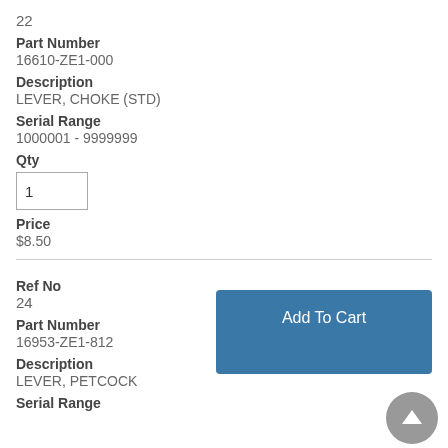22
Part Number
16610-ZE1-000
Description
LEVER, CHOKE (STD)
Serial Range
1000001 - 9999999
Qty
Price
$8.50
Add To Cart
Ref No
24
Part Number
16953-ZE1-812
Description
LEVER, PETCOCK
Serial Range